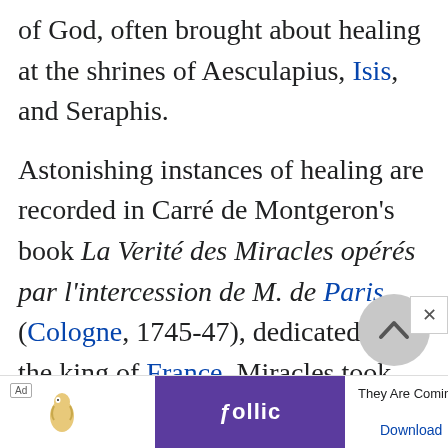of God, often brought about healing at the shrines of Aesculapius, Isis, and Seraphis.
Astonishing instances of healing are recorded in Carré de Montgeron's book La Verité des Miracles opérés par l'intercession de M. de Paris (Cologne, 1745-47), dedicated to the king of France. Miracles took place at the tomb of the Abbé Paris, the Jansenist in 1731 and the three or four years following...
[Figure (other): Ad banner for Follic game with 'They Are Coming!' text and Download link, plus a back-to-top circular button and close X button]